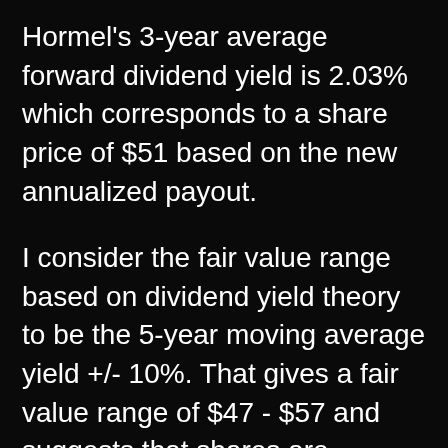Hormel's 3-year average forward dividend yield is 2.03% which corresponds to a share price of $51 based on the new annualized payout.
I consider the fair value range based on dividend yield theory to be the 5-year moving average yield +/- 10%. That gives a fair value range of $47 - $57 and suggests that shares are